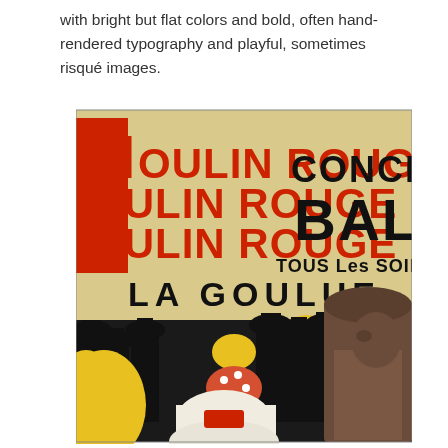with bright but flat colors and bold, often hand-rendered typography and playful, sometimes risqué images.
[Figure (illustration): Moulin Rouge poster by Henri de Toulouse-Lautrec showing 'La Goulue'. The upper portion has text: 'MOULIN ROUGE' repeated three times in red on cream/yellow background, 'CONCERT BAL' in black, 'TOUS Les SOIRS', and 'LA GOULUE'. The lower portion shows silhouettes of crowd figures in black, a woman dancer in the center wearing a polka-dot dress with yellow hair, and a large figure in brown on the right.]